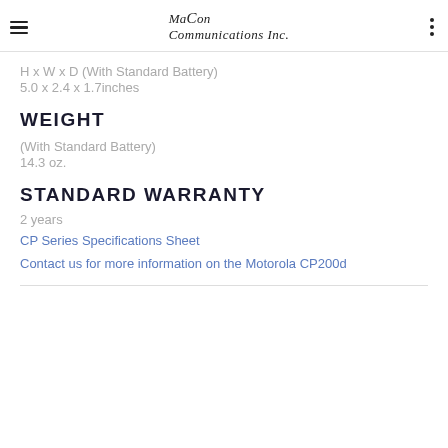Macon Communications Inc.
H x W x D (With Standard Battery)
5.0 x 2.4 x 1.7inches
WEIGHT
(With Standard Battery)
14.3 oz.
STANDARD WARRANTY
2 years
CP Series Specifications Sheet
Contact us for more information on the Motorola CP200d